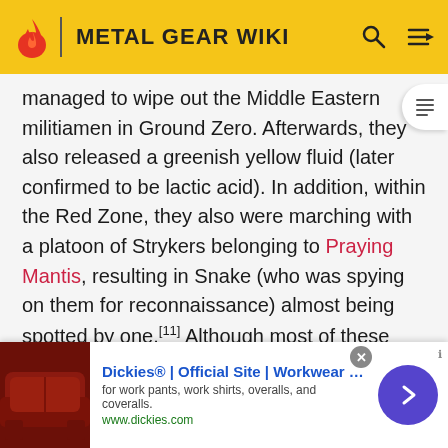METAL GEAR WIKI
managed to wipe out the Middle Eastern militiamen in Ground Zero. Afterwards, they also released a greenish yellow fluid (later confirmed to be lactic acid). In addition, within the Red Zone, they also were marching with a platoon of Strykers belonging to Praying Mantis, resulting in Snake (who was spying on them for reconnaissance) almost being spotted by one.[11] Although most of these weren't shown in the game itself, the former was nonetheless implied to have happened off-screen with Snake being pursued by Gekko early in Act 1.

Gekko were also seen in the trailer for Metal Gear Rising
[Figure (other): Advertisement banner for Dickies workwear showing a sofa/chair image on left, ad text in center, and navigation arrow on right. Text: Dickies® | Official Site | Workwear & Apparel, for work pants, work shirts, overalls, and coveralls. www.dickies.com]